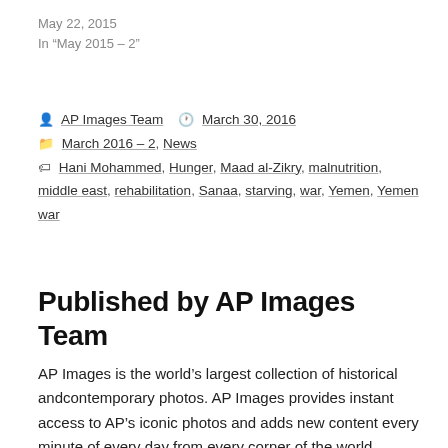May 22, 2015
In "May 2015 – 2"
AP Images Team  March 30, 2016
March 2016 – 2, News
Hani Mohammed, Hunger, Maad al-Zikry, malnutrition, middle east, rehabilitation, Sanaa, starving, war, Yemen, Yemen war
Published by AP Images Team
AP Images is the world's largest collection of historical andcontemporary photos. AP Images provides instant access to AP's iconic photos and adds new content every minute of every day from every corner of the world, making it an essential